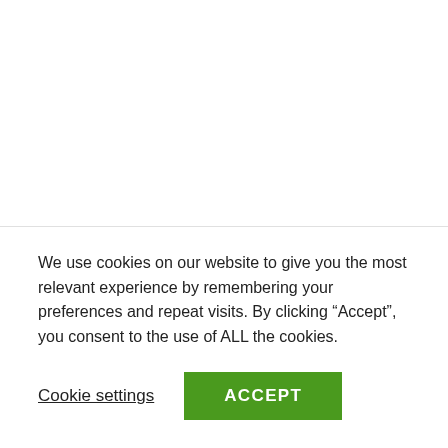See also  Cool Gaming Tool Redragon GM300 USB Gaming Microphone, Computer PC Laptop
We use cookies on our website to give you the most relevant experience by remembering your preferences and repeat visits. By clicking “Accept”, you consent to the use of ALL the cookies.
Cookie settings
ACCEPT